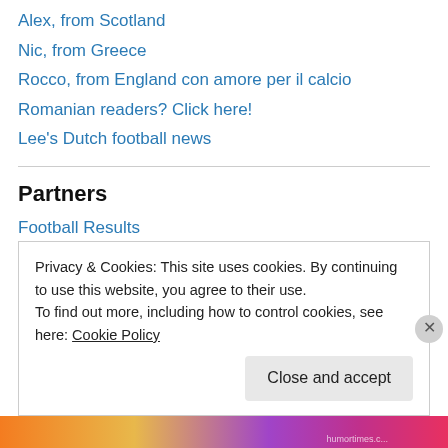Alex, from Scotland
Nic, from Greece
Rocco, from England con amore per il calcio
Romanian readers? Click here!
Lee's Dutch football news
Partners
Football Results
Cristiano Ronaldo
French football
Privacy & Cookies: This site uses cookies. By continuing to use this website, you agree to their use.
To find out more, including how to control cookies, see here: Cookie Policy